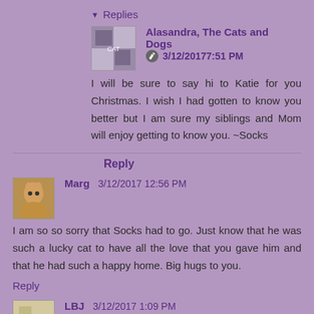▾ Replies
Alasandra, The Cats and Dogs  ✎  3/12/2017 7:51 PM
I will be sure to say hi to Katie for you Christmas. I wish I had gotten to know you better but I am sure my siblings and Mom will enjoy getting to know you. ~Socks
Reply
Marg  3/12/2017 12:56 PM
I am so so sorry that Socks had to go. Just know that he was such a lucky cat to have all the love that you gave him and that he had such a happy home. Big hugs to you.
Reply
LBJ  3/12/2017 1:09 PM